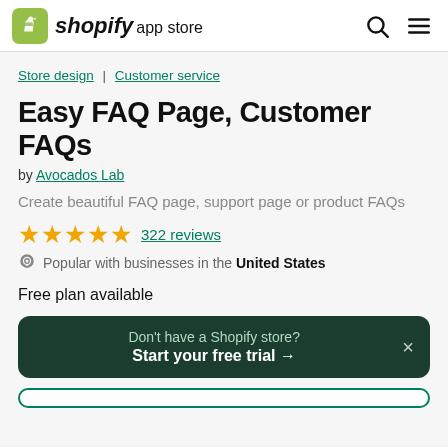shopify app store
Store design | Customer service
Easy FAQ Page, Customer FAQs
by Avocados Lab
Create beautiful FAQ page, support page or product FAQs
★★★★★ 322 reviews
Popular with businesses in the United States
Free plan available
Don't have a Shopify store? Start your free trial →